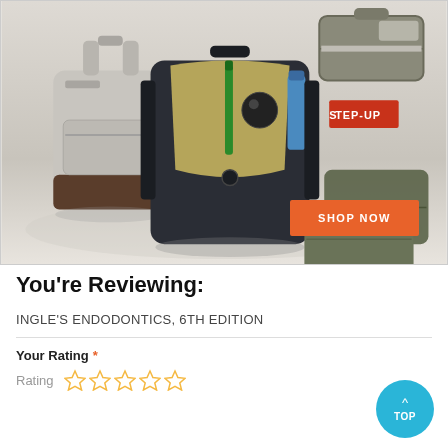[Figure (photo): Product advertisement image showing multiple backpacks and travel bags arranged together with a 'SHOP NOW' orange button in the bottom right. Items include a gray backpack, a dark navy open backpack with olive interior, green packing cubes, and various travel accessories.]
You're Reviewing:
INGLE'S ENDODONTICS, 6TH EDITION
Your Rating *
Rating (5 empty stars)